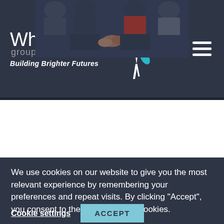[Figure (logo): White Trees Group logo with colorful leaf tree illustration and tagline 'Building Brighter Futures']
[Figure (photo): Photo strip showing group of children/people sitting together, cropped to show their torsos and laps only, with white side panels and a slider dot indicator]
We use cookies on our website to give you the most relevant experience by remembering your preferences and repeat visits. By clicking “Accept”, you consent to the use of ALL the cookies.
Cookie settings
ACCEPT